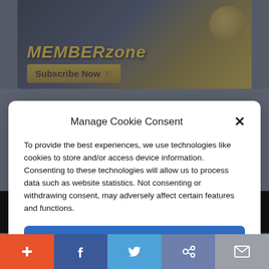[Figure (screenshot): MemberZone banner advertisement with 'Subscribe Now' button and golden lock imagery]
Manage Cookie Consent
To provide the best experiences, we use technologies like cookies to store and/or access device information. Consenting to these technologies will allow us to process data such as website statistics. Not consenting or withdrawing consent, may adversely affect certain features and functions.
Accept
Cookie Policy  Privacy Policy
[Figure (screenshot): Download on the App Store and Download from Google Play buttons on black background]
[Figure (screenshot): Social sharing toolbar with plus, Facebook, Twitter, link, and email buttons]